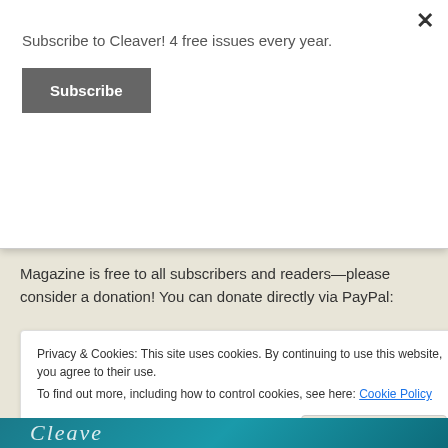Subscribe to Cleaver! 4 free issues every year.
Subscribe
Magazine is free to all subscribers and readers—please consider a donation! You can donate directly via PayPal:
[Figure (screenshot): PayPal Donate button with payment method icons (Visa, Mastercard, Maestro, American Express, Discover, JCB)]
Privacy & Cookies: This site uses cookies. By continuing to use this website, you agree to their use.
To find out more, including how to control cookies, see here: Cookie Policy
Close and accept
[Figure (photo): Teal/turquoise banner image at the bottom of the page with stylized text]